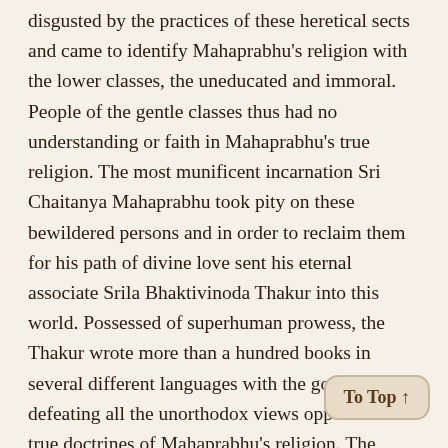disgusted by the practices of these heretical sects and came to identify Mahaprabhu's religion with the lower classes, the uneducated and immoral. People of the gentle classes thus had no understanding or faith in Mahaprabhu's true religion. The most munificent incarnation Sri Chaitanya Mahaprabhu took pity on these bewildered persons and in order to reclaim them for his path of divine love sent his eternal associate Srila Bhaktivinoda Thakur into this world. Possessed of superhuman prowess, the Thakur wrote more than a hundred books in several different languages with the goal of defeating all the unorthodox views opposed to the true doctrines of Mahaprabhu's religion. The result was that many members of discerning society and others from all over the world came to recognize the unequalled value of Mahaprabhu's teachings. The founder of the Chaitanya Math and the worldwide Gaudiya Maths, Srila Bhaktisiddhanta Saraswati Goswami Thakur, based his mission on the writings and teachings given by Srila Bhaktivinoda Thakur, and set in motion the fulfillment of Mahaprabhu's message, found in